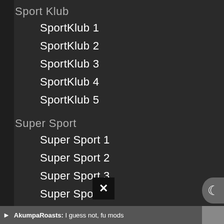Sport Klub
SportKlub 1
SportKlub 2
SportKlub 3
SportKlub 4
SportKlub 5
Super Sport
Super Sport 1
Super Sport 2
Super Sport 3
Super Sport 4
Sports Channels
NBCSN
AkumpaRoasts: I guess not, fu mods